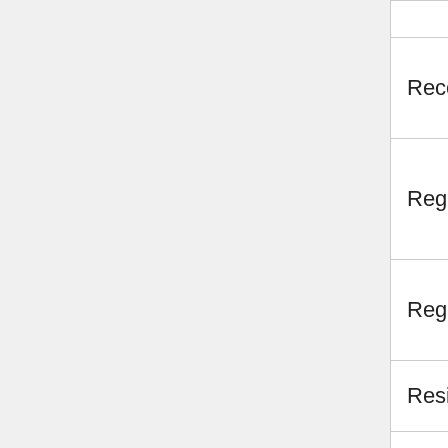| Series/Franchise | Game Title |
| --- | --- |
|  | Go! |
| Recess | Recess: Concrete Jumble |
| Regal Academy | Regal Academy: Cinderella: Daughter of Cinderella |
| Regular Show | Regular Show Trash Dash |
| Resident Evil | Chainsaw Maniac |
| Rhythm Heaven | Lock simulator |
| Rick and Morty | Morty Maker |
| Ricky Zoom | Ricky Zoom: Wheelies |
| Rise of the Guardians | Jack Frost Rejuve... |
| River City Ramson | River City Hacky... |
| Robin Hood | Robin Hood Arche... Adventure |
| Robbo... | Robbo 007 A... |